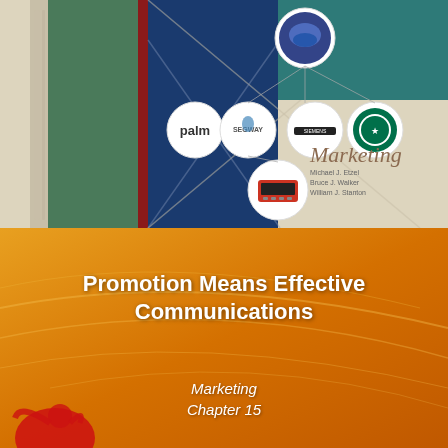[Figure (illustration): Marketing textbook cover showing brand logos (Palm, Segway, Siemens-style, Starbucks) in circular frames connected by lines on a background split between green, dark blue, and beige. Title reads 'Marketing' with authors Michael J. Etzel, Bruce J. Walker, William J. Stanton.]
[Figure (illustration): Orange gradient presentation slide background with curved decorative lines and a red figure silhouette at bottom left.]
Promotion Means Effective Communications
Marketing
Chapter 15